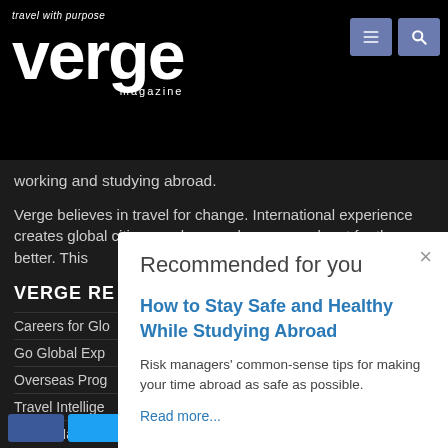travel with purpose verge magazine
working and studying abroad.
Verge believes in travel for change. International experience creates global citizens, who can change our planet for the better. This
VERGE RE
Careers for Glo
Go Global Exp
Overseas Prog
Travel Intellige
Verge Magazin
Recommended for you × How to Stay Safe and Healthy While Studying Abroad Risk managers' common-sense tips for making your time abroad as safe as possible. Read more...